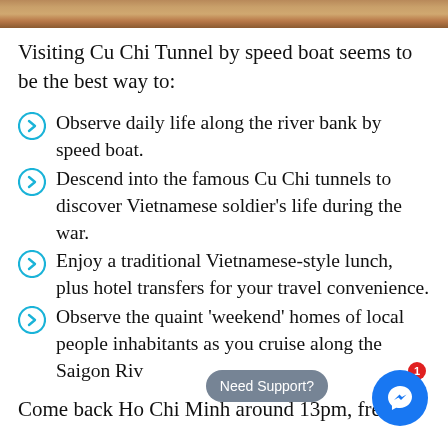[Figure (photo): Decorative photo strip at top of page showing warm brown/wooden tones]
Visiting Cu Chi Tunnel by speed boat seems to be the best way to:
Observe daily life along the river bank by speed boat.
Descend into the famous Cu Chi tunnels to discover Vietnamese soldier's life during the war.
Enjoy a traditional Vietnamese-style lunch, plus hotel transfers for your travel convenience.
Observe the quaint 'weekend' homes of local people inhabitants as you cruise along the Saigon Riv
Come back Ho Chi Minh around 13pm, free